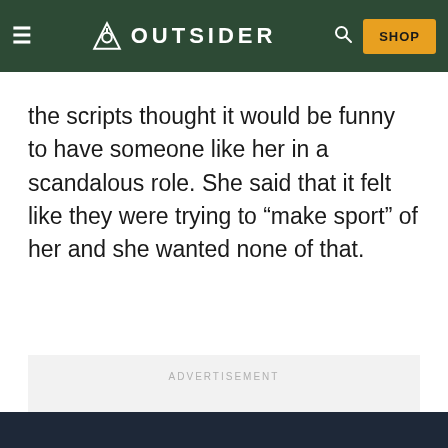OUTSIDER — navigation bar with hamburger menu, Outsider logo, search icon, and SHOP button
the scripts thought it would be funny to have someone like her in a scandalous role. She said that it felt like they were trying to “make sport” of her and she wanted none of that.
[Figure (other): Advertisement placeholder box with label ADVERTISEMENT]